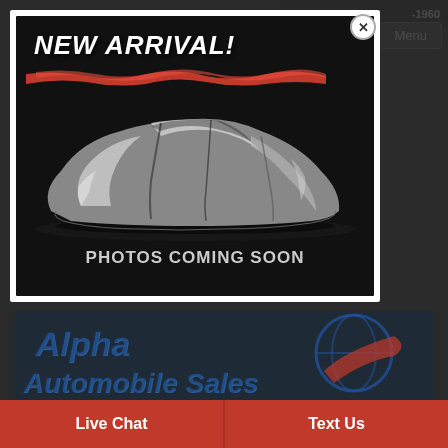-1960
[Figure (screenshot): Modal popup showing a car covered with a silver/black cloth cover on dark background. Text reads 'NEW ARRIVAL!' at top with a red brush stroke underneath, and 'PHOTOS COMING SOON' at the bottom of the image.]
[Figure (logo): Alpha Automobile Sales logo with stylized text in blue/grey and red, with a car wheel graphic element]
Live Chat
Text Us